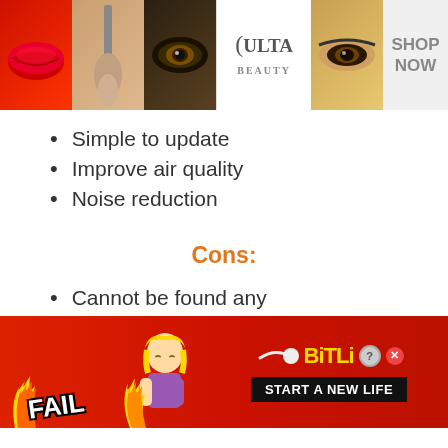[Figure (infographic): Top advertisement banner showing beauty/makeup images, ULTA Beauty logo, eye close-up, and SHOP NOW text]
Simple to update
Improve air quality
Noise reduction
Cons:
Cannot be found any
[Figure (infographic): Bottom advertisement banner for BitLife mobile game with FAIL text, animated character, flames, and START A NEW LIFE tagline]